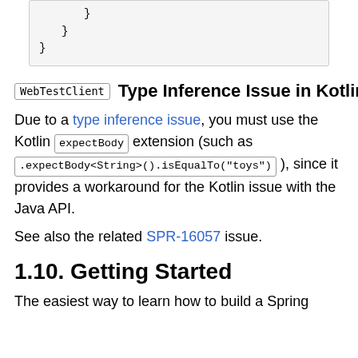}
    }
}
WebTestClient  Type Inference Issue in Kotlin
Due to a type inference issue, you must use the Kotlin expectBody extension (such as .expectBody<String>().isEqualTo("toys") ), since it provides a workaround for the Kotlin issue with the Java API.
See also the related SPR-16057 issue.
1.10. Getting Started
The easiest way to learn how to build a Spring